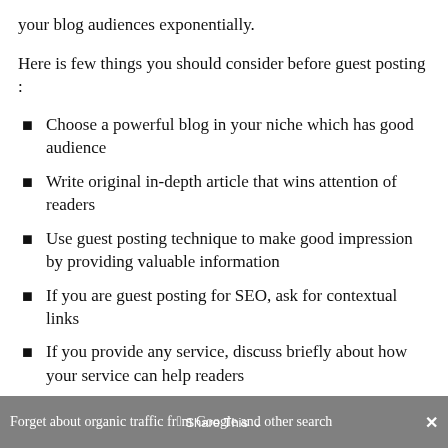your blog audiences exponentially.
Here is few things you should consider before guest posting :
Choose a powerful blog in your niche which has good audience
Write original in-depth article that wins attention of readers
Use guest posting technique to make good impression by providing valuable information
If you are guest posting for SEO, ask for contextual links
If you provide any service, discuss briefly about how your service can help readers
Forget about organic traffiс 塚rom Google and other search   Share This   ✕